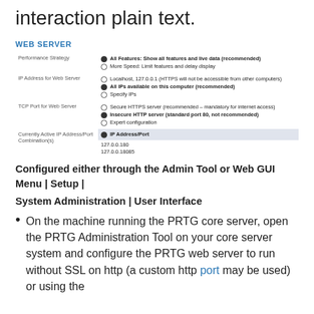interaction plain text.
WEB SERVER
|  |  |
| --- | --- |
| Performance Strategy | ● All Features: Show all features and live data (recommended)
○ More Speed: Limit features and delay display |
| IP Address for Web Server | ○ Localhost, 127.0.0.1 (HTTPS will not be accessible from other computers)
● All IPs available on this computer (recommended)
○ Specify IPs |
| TCP Port for Web Server | ○ Secure HTTPS server (recommended – mandatory for internet access)
● Insecure HTTP server (standard port 80, not recommended)
○ Expert configuration |
| Currently Active IP Address/Port Combination(s) | ● IP Address/Port
127.0.0.180
127.0.0.18085 |
Configured either through the Admin Tool or Web GUI Menu | Setup | System Administration | User Interface
On the machine running the PRTG core server, open the PRTG Administration Tool on your core server system and configure the PRTG web server to run without SSL on http (a custom http port may be used) or using the